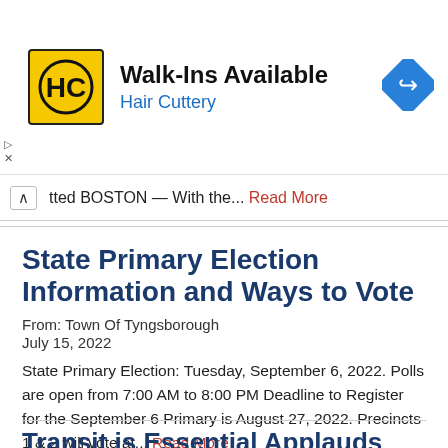[Figure (logo): Hair Cuttery advertisement banner with HC logo, 'Walk-Ins Available' headline, 'Hair Cuttery' subline in blue, and a blue diamond direction arrow icon]
tted BOSTON — With the... Read More
State Primary Election Information and Ways to Vote
From: Town Of Tyngsborough
July 15, 2022
State Primary Election: Tuesday, September 6, 2022. Polls are open from 7:00 AM to 8:00 PM Deadline to Register for the September 6 Primary is August 27, 2022. Precincts 1 & 2 will vote at... Read More
Transit is Essential Applauds